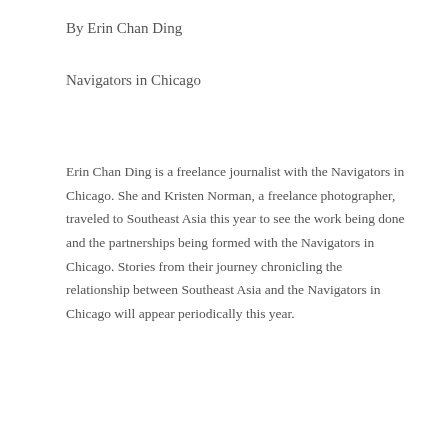By Erin Chan Ding
Navigators in Chicago
Erin Chan Ding is a freelance journalist with the Navigators in Chicago. She and Kristen Norman, a freelance photographer, traveled to Southeast Asia this year to see the work being done and the partnerships being formed with the Navigators in Chicago. Stories from their journey chronicling the relationship between Southeast Asia and the Navigators in Chicago will appear periodically this year.